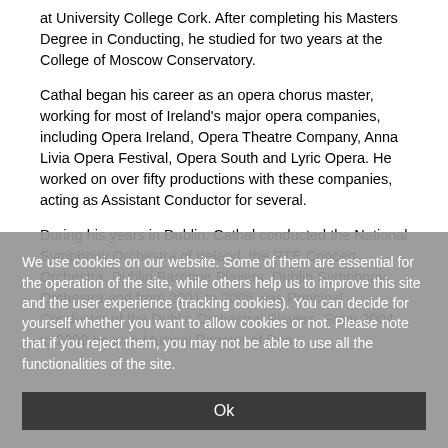at University College Cork. After completing his Masters Degree in Conducting, he studied for two years at the College of Moscow Conservatory.
Cathal began his career as an opera chorus master, working for most of Ireland's major opera companies, including Opera Ireland, Opera Theatre Company, Anna Livia Opera Festival, Opera South and Lyric Opera. He worked on over fifty productions with these companies, acting as Assistant Conductor for several.
During his years in Dublin, Cathal conducted the National Symphony Orchestra of Ireland, the RTÉ Concert Orchestra, Dublin Baroque Players, Dublin Symphony Orchestra and from 2001 to 2006 was Principal Conductor of the Dublin Orchestral Players. From 2004 to 2009 he was Musical Director of Dun
We use cookies on our website. Some of them are essential for the operation of the site, while others help us to improve this site and the user experience (tracking cookies). You can decide for yourself whether you want to allow cookies or not. Please note that if you reject them, you may not be able to use all the functionalities of the site.